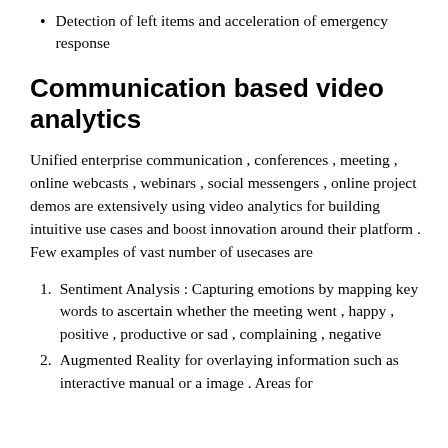Detection of left items and acceleration of emergency response
Communication based video analytics
Unified enterprise communication , conferences , meeting , online webcasts , webinars , social messengers , online project demos are extensively using video analytics for building intuitive use cases and boost innovation around their platform . Few examples of vast number of usecases are
Sentiment Analysis : Capturing emotions by mapping key words to ascertain whether the meeting went , happy , positive , productive or sad , complaining , negative
Augmented Reality for overlaying information such as interactive manual or a image . Areas for